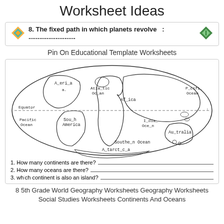Worksheet Ideas
[Figure (screenshot): Worksheet card showing item 8: 'The fixed path in which planets revolve : ...................' with decorative arrow icons on left and right]
Pin On Educational Template Worksheets
[Figure (illustration): World map worksheet showing continents and oceans with fill-in-the-blank labels: A_eri_a, Atla_tic Oc_an, Af_ica, P_cifi_ Ocean, Equator, Pacific Ocean, Sou_h America, I_dia_ Oce_n, Au_tralia, Southe_n Ocean, A_tarct_c_a]
1. How many continents are there?
2. How many oceans are there?
3. which continent is also an island?
8 5th Grade World Geography Worksheets Geography Worksheets Social Studies Worksheets Continents And Oceans